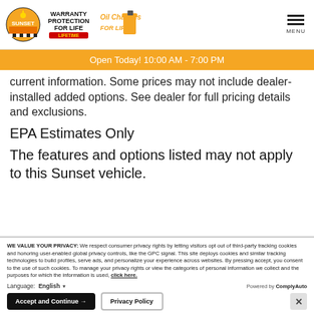[Figure (logo): Sunset dealership logo with sun and checkered flag, Warranty Protection for Life Lifetime logo, Oil Changes For Life logo with oil jug]
Open Today! 10:00 AM - 7:00 PM
current information. Some prices may not include dealer-installed added options. See dealer for full pricing details and exclusions.
EPA Estimates Only
The features and options listed may not apply to this Sunset vehicle.
WE VALUE YOUR PRIVACY: We respect consumer privacy rights by letting visitors opt out of third-party tracking cookies and honoring user-enabled global privacy controls, like the GPC signal. This site deploys cookies and similar tracking technologies to build profiles, serve ads, and personalize your experience across websites. By pressing accept, you consent to the use of such cookies. To manage your privacy rights or view the categories of personal information we collect and the purposes for which the information is used, click here.
Language: English
Powered by ComplyAuto
Accept and Continue →
Privacy Policy